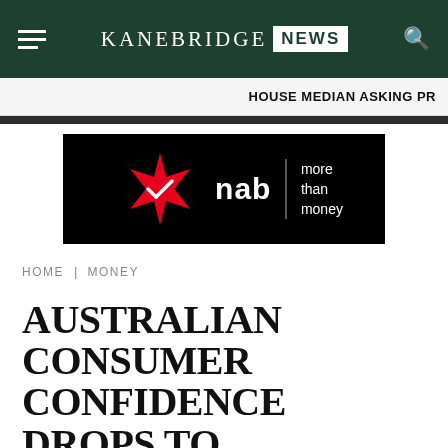KANEBRIDGE NEWS
HOUSE MEDIAN ASKING PR
[Figure (logo): NAB bank advertisement — black background with red star logo, 'nab' text, and tagline 'more than money']
HOME | MONEY
AUSTRALIAN CONSUMER CONFIDENCE DROPS TO RECESSIONARY LEVELS